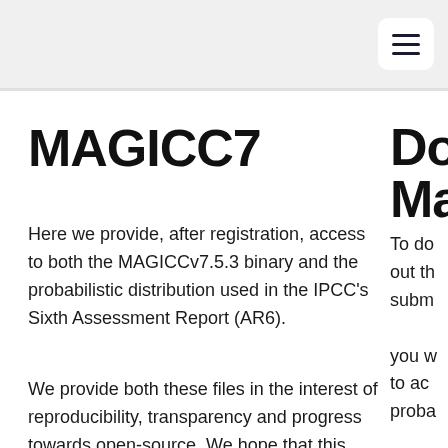MAGICC7
Here we provide, after registration, access to both the MAGICCv7.5.3 binary and the probabilistic distribution used in the IPCC's Sixth Assessment Report (AR6).
We provide both these files in the interest of reproducibility, transparency and progress towards open-source. We hope that this step will improve understanding
Do
MA
To do
out th
subm
you w
to ac
proba
Full na